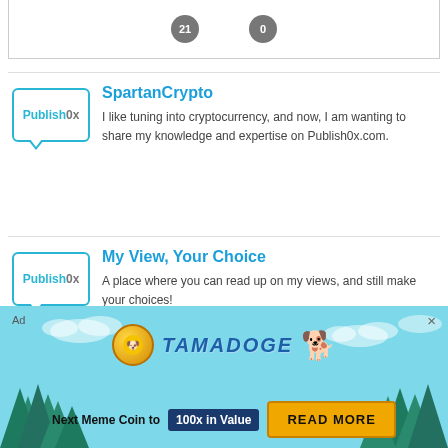[Figure (other): Top card box with two badges showing numbers 21 and 0 on gray circles]
[Figure (logo): Publish0x speech bubble logo for SpartanCrypto section]
SpartanCrypto
I like tuning into cryptocurrency, and now, I am wanting to share my knowledge and expertise on Publish0x.com.
[Figure (logo): Publish0x speech bubble logo for My View, Your Choice section]
My View, Your Choice
A place where you can read up on my views, and still make your choices!
[Figure (infographic): Tamadoge advertisement banner with sky/tree background. Shows Tamadoge logo with coin and pixel dog. Text: Next Meme Coin to 100x in Value. READ MORE button.]